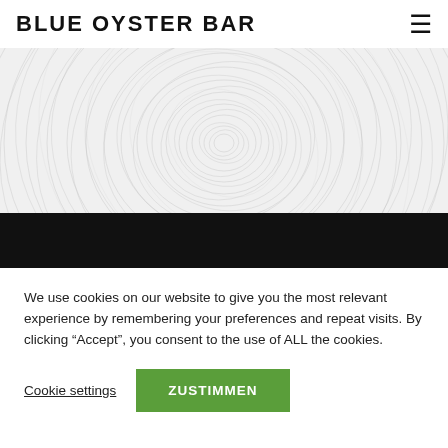BLUE OYSTER BAR
[Figure (photo): Abstract spiral/circular motion blur pattern in light grey and white tones, with a black band at the bottom]
We use cookies on our website to give you the most relevant experience by remembering your preferences and repeat visits. By clicking “Accept”, you consent to the use of ALL the cookies.
Cookie settings   ZUSTIMMEN